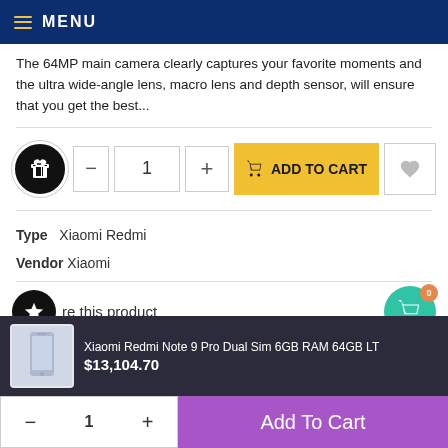MENU
The 64MP main camera clearly captures your favorite moments and the ultra wide-angle lens, macro lens and depth sensor, will ensure that you get the best...
[Figure (screenshot): Add to cart controls: gift icon button, quantity field showing 1, plus button, yellow ADD TO CART button with cart icon, heart/wishlist icon]
Type   Xiaomi Redmi
Vendor   Xiaomi
[Figure (screenshot): Share this product section with star icon, social sharing icons: Facebook, Twitter, Pinterest, Google+, LinkedIn, and a teal cart bubble showing 0 items]
[Figure (screenshot): Bottom sticky bar showing Xiaomi Redmi Note 9 Pro Dual Sim 6GB RAM 64GB LT product image, price $13,104.70, quantity selector with - 1 +, and purple Add To Cart button]